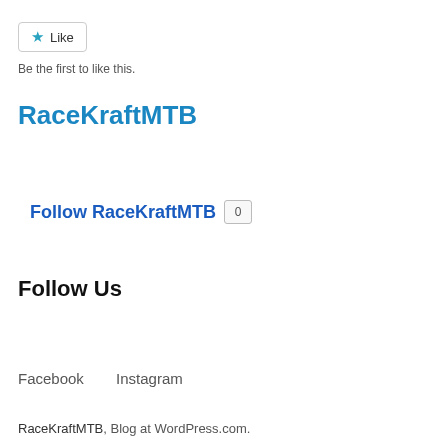[Figure (other): Like button with star icon and text 'Like']
Be the first to like this.
RaceKraftMTB
Follow RaceKraftMTB 0
Follow Us
Facebook    Instagram
RaceKraftMTB, Blog at WordPress.com.